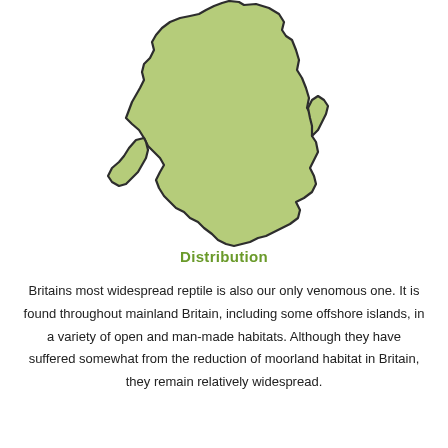[Figure (map): Outline map of Great Britain (England and Wales) filled with light green, showing the distribution range of Britain's most widespread reptile.]
Distribution
Britains most widespread reptile is also our only venomous one. It is found throughout mainland Britain, including some offshore islands, in a variety of open and man-made habitats. Although they have suffered somewhat from the reduction of moorland habitat in Britain, they remain relatively widespread.